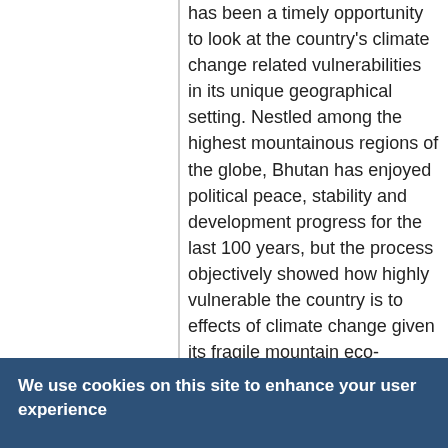has been a timely opportunity to look at the country's climate change related vulnerabilities in its unique geographical setting. Nestled among the highest mountainous regions of the globe, Bhutan has enjoyed political peace, stability and development progress for the last 100 years, but the process objectively showed how highly vulnerable the country is to effects of climate change given its fragile mountain eco-systems, high dependency on monsoon rains, and the ever present threats of Glacier Lake Outburst Floods (GLOFs) from its northern
We use cookies on this site to enhance your user experience